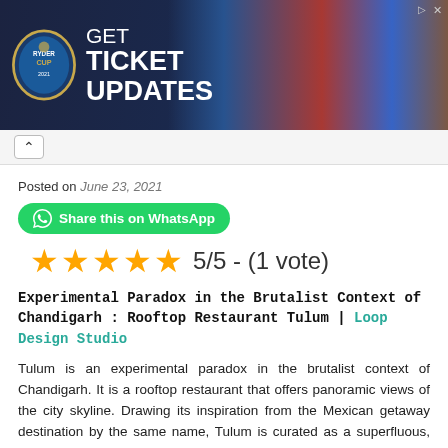[Figure (photo): Ryder Cup advertisement banner with logo and golfers, text: GET TICKET UPDATES]
Posted on June 23, 2021
Share this on WhatsApp
5/5 - (1 vote)
Experimental Paradox in the Brutalist Context of Chandigarh : Rooftop Restaurant Tulum | Loop Design Studio
Tulum is an experimental paradox in the brutalist context of Chandigarh. It is a rooftop restaurant that offers panoramic views of the city skyline. Drawing its inspiration from the Mexican getaway destination by the same name, Tulum is curated as a superfluous, green and vernacular oasis.